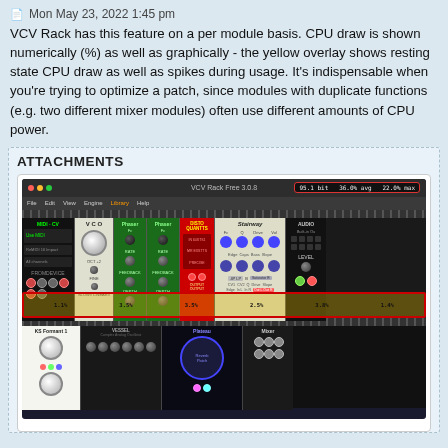Mon May 23, 2022 1:45 pm
VCV Rack has this feature on a per module basis. CPU draw is shown numerically (%) as well as graphically - the yellow overlay shows resting state CPU draw as well as spikes during usage. It's indispensable when you're trying to optimize a patch, since modules with duplicate functions (e.g. two different mixer modules) often use different amounts of CPU power.
ATTACHMENTS
[Figure (screenshot): Screenshot of VCV Rack Free 3.0.8 showing multiple synthesizer modules (MIDI-CV, VCO, Phaser x2, Distortion, Stairway, Audio) with a yellow CPU overlay overlay at the bottom of the rack showing CPU usage percentages (1.1%, 3.5%, 3.5%, 2.5%, 3.8%, 1.4%), and a red rounded rectangle highlighting a stats panel in the top-right of the title bar. A second row shows additional modules (KS, Vessel, Plateau, Mixer).]